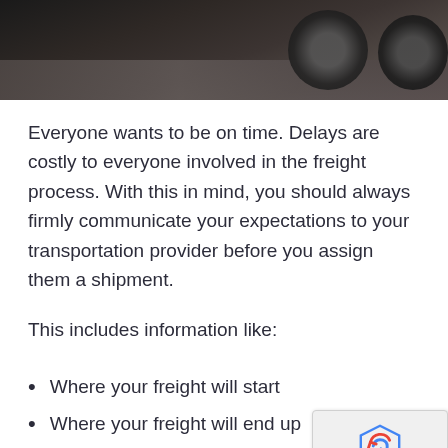[Figure (photo): Dark photo showing truck/freight vehicle tires and undercarriage on a ground surface, partially visible at top of page]
Everyone wants to be on time.  Delays are costly to everyone involved in the freight process.  With this in mind, you should always firmly communicate your expectations to your transportation provider before you assign them a shipment.
This includes information like:
Where your freight will start
Where your freight will end up